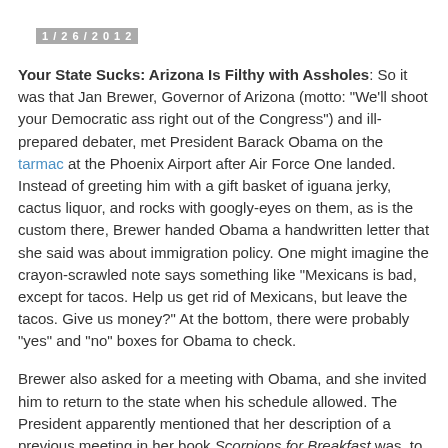1/26/2012
Your State Sucks: Arizona Is Filthy with Assholes: So it was that Jan Brewer, Governor of Arizona (motto: "We'll shoot your Democratic ass right out of the Congress") and ill-prepared debater, met President Barack Obama on the tarmac at the Phoenix Airport after Air Force One landed. Instead of greeting him with a gift basket of iguana jerky, cactus liquor, and rocks with googly-eyes on them, as is the custom there, Brewer handed Obama a handwritten letter that she said was about immigration policy. One might imagine the crayon-scrawled note says something like "Mexicans is bad, except for tacos. Help us get rid of Mexicans, but leave the tacos. Give us money?" At the bottom, there were probably "yes" and "no" boxes for Obama to check.
Brewer also asked for a meeting with Obama, and she invited him to return to the state when his schedule allowed. The President apparently mentioned that her description of a previous meeting in her book Scorpions for Breakfast was, to